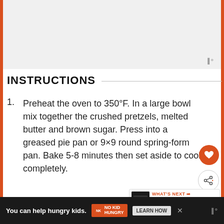[Figure (photo): Partial image of a dessert recipe, light gray placeholder area with a watermark logo in the bottom-right corner]
INSTRUCTIONS
Preheat the oven to 350°F. In a large bowl mix together the crushed pretzels, melted butter and brown sugar. Press into a greased pie pan or 9×9 round spring-form pan. Bake 5-8 minutes then set aside to cool completely.
Meanwhile, use a hand mixer to whip